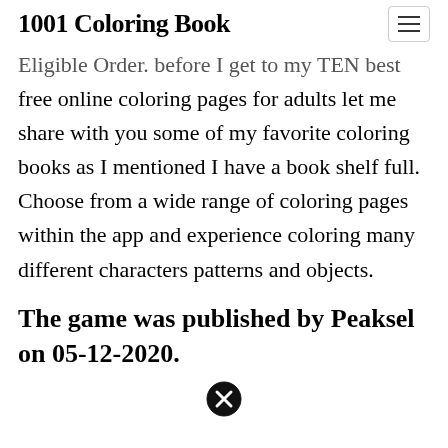1001 Coloring Book
Eligible Order. before I get to my TEN best free online coloring pages for adults let me share with you some of my favorite coloring books as I mentioned I have a book shelf full. Choose from a wide range of coloring pages within the app and experience coloring many different characters patterns and objects.
The game was published by Peaksel on 05-12-2020.